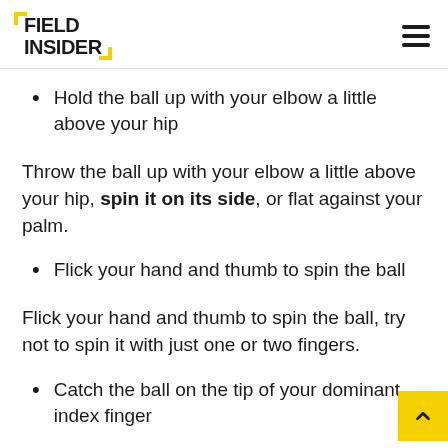FIELD INSIDER
Hold the ball up with your elbow a little above your hip
Throw the ball up with your elbow a little above your hip, spin it on its side, or flat against your palm.
Flick your hand and thumb to spin the ball
Flick your hand and thumb to spin the ball, try not to spin it with just one or two fingers.
Catch the ball on the tip of your dominant index finger